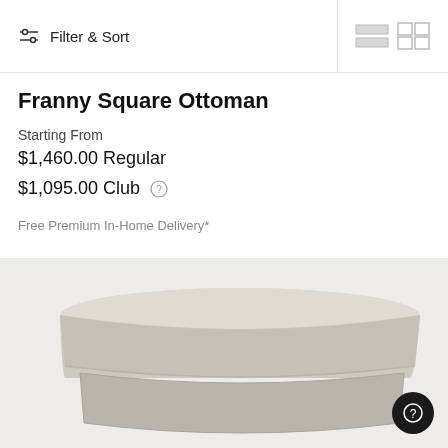Filter & Sort
Franny Square Ottoman
Starting From
$1,460.00 Regular
$1,095.00 Club
Free Premium In-Home Delivery*
[Figure (photo): Franny Square Ottoman in light beige/cream fabric, shown from a slightly elevated angle. The ottoman has a cushioned top with piping detail and a base section. The ottoman is photographed against a light gray background.]